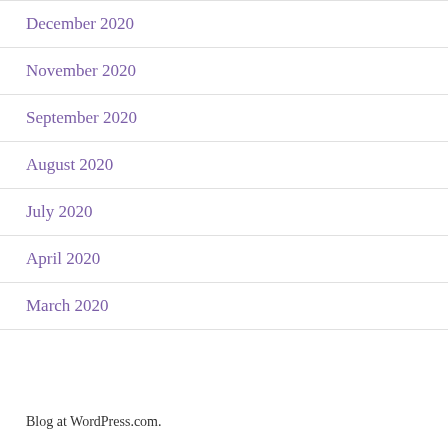December 2020
November 2020
September 2020
August 2020
July 2020
April 2020
March 2020
Blog at WordPress.com.